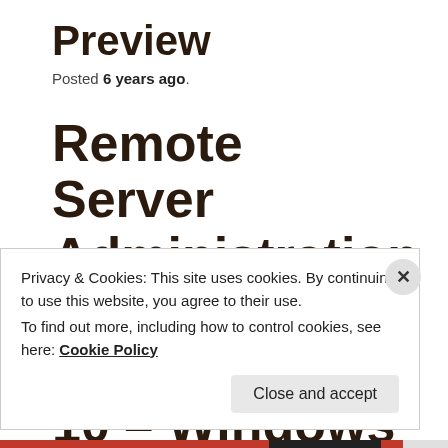Preview
Posted 6 years ago.
Remote Server Administration Tools (RSAT) for Windows 10 – Windows Server 2016 TP5
Privacy & Cookies: This site uses cookies. By continuing to use this website, you agree to their use.
To find out more, including how to control cookies, see here: Cookie Policy